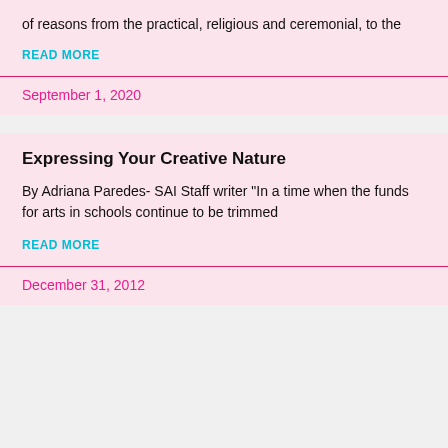of reasons from the practical, religious and ceremonial, to the
READ MORE
September 1, 2020
Expressing Your Creative Nature
By Adriana Paredes- SAI Staff writer "In a time when the funds for arts in schools continue to be trimmed
READ MORE
December 31, 2012